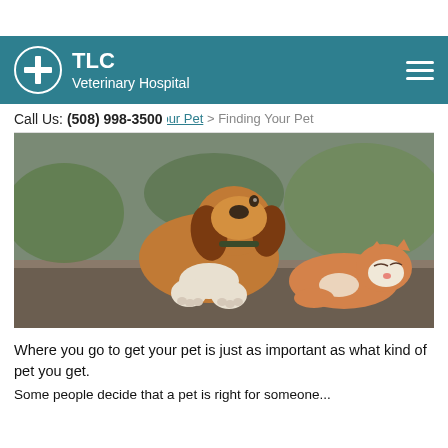TLC Veterinary Hospital
Call Us: (508) 998-3500
[Figure (photo): A beagle dog resting on a stone ledge next to a sleeping orange and white cat, outdoors with greenery in the background.]
Where you go to get your pet is just as important as what kind of pet you get.
Some people decide that a pet is right for someone...